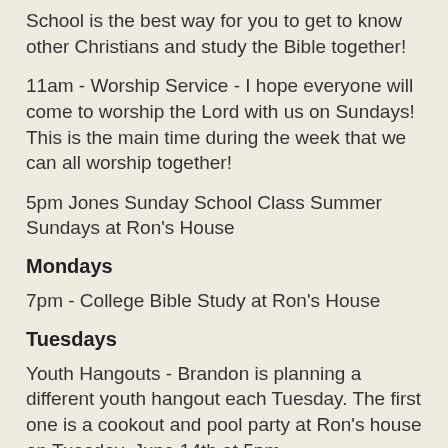School is the best way for you to get to know other Christians and study the Bible together!
11am - Worship Service - I hope everyone will come to worship the Lord with us on Sundays! This is the main time during the week that we can all worship together!
5pm Jones Sunday School Class Summer Sundays at Ron's House
Mondays
7pm - College Bible Study at Ron's House
Tuesdays
Youth Hangouts - Brandon is planning a different youth hangout each Tuesday. The first one is a cookout and pool party at Ron's house on Tuesday, June 14th at 5pm